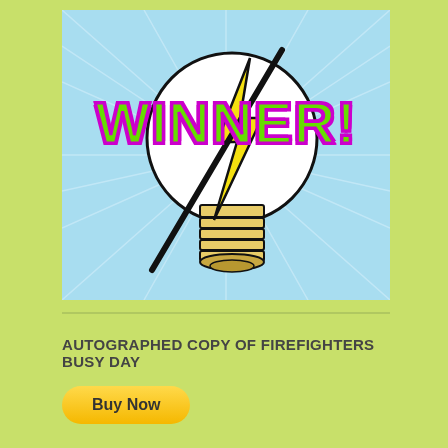[Figure (illustration): Light blue background with radiating lines and a large illustrated light bulb with a lightning bolt through it. The word WINNER! is overlaid in large bold green letters with purple outline.]
AUTOGRAPHED COPY OF FIREFIGHTERS BUSY DAY
Buy Now